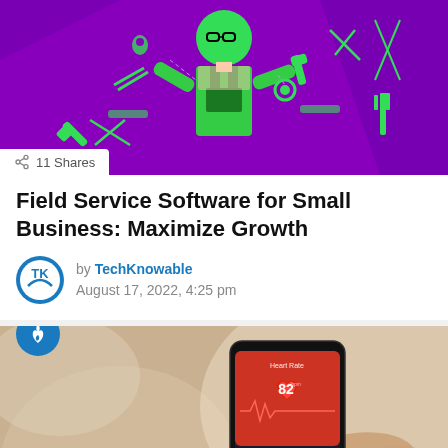[Figure (illustration): Purple background hero image with a green illustrated worker/technician figure in overalls and glasses, surrounded by tools (pliers, wrench, gear, etc.) in green on a purple background]
11 Shares
Field Service Software for Small Business: Maximize Growth
by TechKnowable
August 17, 2022, 4:25 pm
[Figure (photo): Photo of a hand holding a smartphone displaying a heart rate monitoring app showing 82 bpm on a red screen, with health metric bars below. A blue flame badge icon overlays the top-left corner.]